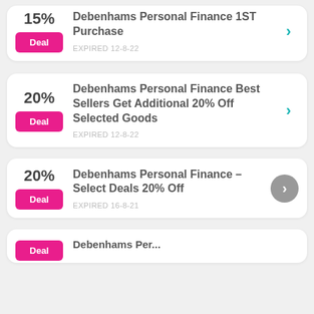15%
Deal
Debenhams Personal Finance 1ST Purchase
EXPIRED 12-8-22
20%
Deal
Debenhams Personal Finance Best Sellers Get Additional 20% Off Selected Goods
EXPIRED 12-8-22
20%
Deal
Debenhams Personal Finance – Select Deals 20% Off
EXPIRED 16-8-21